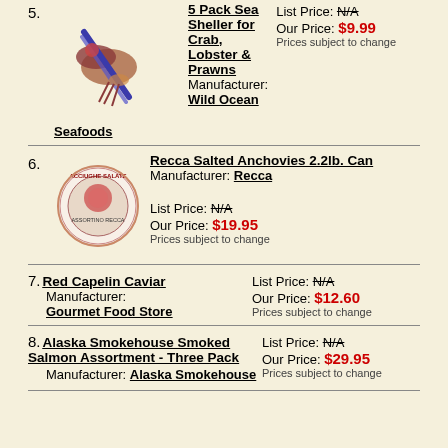5. 5 Pack Sea Sheller for Crab, Lobster & Prawns
Manufacturer: Wild Ocean
Seafoods
List Price: N/A
Our Price: $9.99
Prices subject to change
6. Recca Salted Anchovies 2.2lb. Can
Manufacturer: Recca
List Price: N/A
Our Price: $19.95
Prices subject to change
7. Red Capelin Caviar
Manufacturer: Gourmet Food Store
List Price: N/A
Our Price: $12.60
Prices subject to change
8. Alaska Smokehouse Smoked Salmon Assortment - Three Pack
Manufacturer: Alaska Smokehouse
List Price: N/A
Our Price: $29.95
Prices subject to change